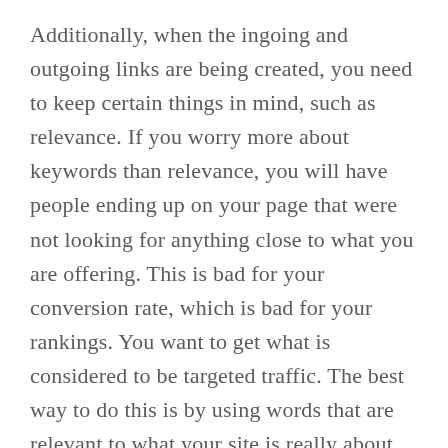Additionally, when the ingoing and outgoing links are being created, you need to keep certain things in mind, such as relevance. If you worry more about keywords than relevance, you will have people ending up on your page that were not looking for anything close to what you are offering. This is bad for your conversion rate, which is bad for your rankings. You want to get what is considered to be targeted traffic. The best way to do this is by using words that are relevant to what your site is really about. Do not focus so much on getting visitors that you forget to focus on who you are targeting in the first place. This is not going to get you anywhere, and